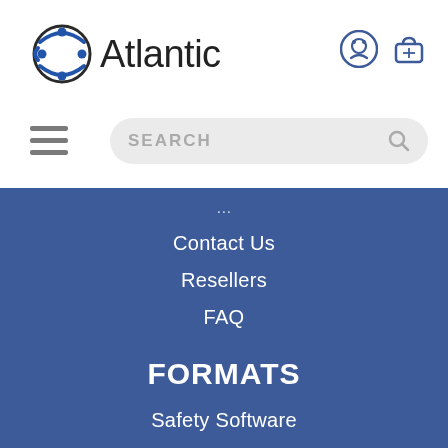[Figure (logo): Atlantic company logo with circular globe icon and text 'Atlantic']
[Figure (other): WhatsApp and shopping basket icons in header top right]
[Figure (other): Hamburger menu toggle icon (three horizontal lines)]
SEARCH
Contact Us
Resellers
FAQ
FORMATS
Safety Software
Online Training
Training DVDs